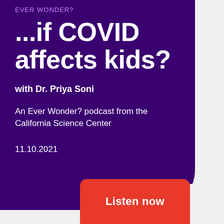EVER WONDER?
...if COVID affects kids?
with Dr. Priya Soni
An Ever Wonder? podcast from the California Science Center
11.10.2021
Listen now